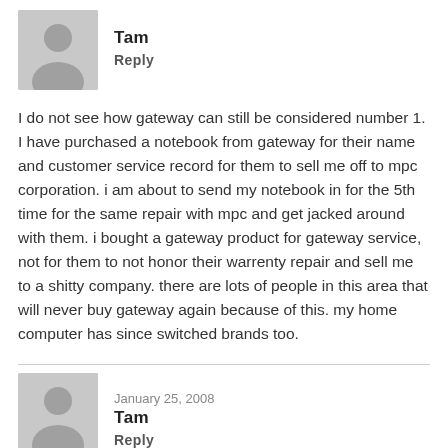[Figure (illustration): Gray avatar placeholder with silhouette of a person]
Tam
Reply
I do not see how gateway can still be considered number 1. I have purchased a notebook from gateway for their name and customer service record for them to sell me off to mpc corporation. i am about to send my notebook in for the 5th time for the same repair with mpc and get jacked around with them. i bought a gateway product for gateway service, not for them to not honor their warrenty repair and sell me to a shitty company. there are lots of people in this area that will never buy gateway again because of this. my home computer has since switched brands too.
January 25, 2008
Tam
Reply
I do not see how gateway can still be considered number 1. I have